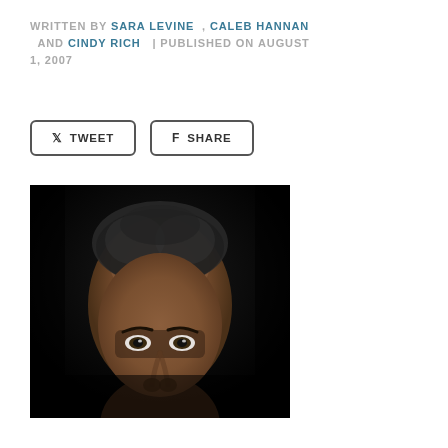WRITTEN BY SARA LEVINE , CALEB HANNAN AND CINDY RICH | PUBLISHED ON AUGUST 1, 2007
TWEET | SHARE
[Figure (photo): Close-up portrait of a person with a shaved head against a dark background, face partially visible from forehead to nose]